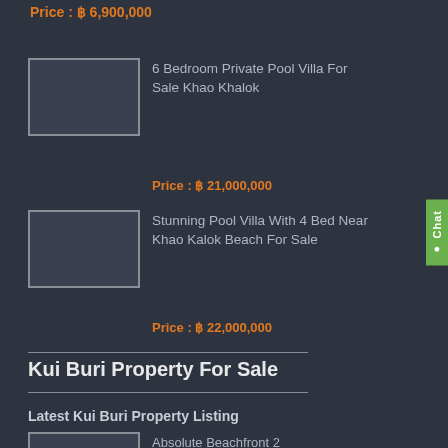Price : ฿ 6,900,000
[Figure (photo): Property thumbnail image placeholder - dark background]
6 Bedroom Private Pool Villa For Sale Khao Khalok
Price : ฿ 21,000,000
[Figure (photo): Property thumbnail image placeholder - dark background]
Stunning Pool Villa With 4 Bed Near Khao Kalok Beach For Sale
Price : ฿ 22,000,000
Kui Buri Property For Sale
Latest Kui Buri Property Listing
[Figure (photo): Property thumbnail image placeholder - dark background]
Stunning Kui Buri Beach Pool Villa Ideal For Investment
Price : ฿ 16,000,000
[Figure (photo): Property thumbnail image placeholder - dark background]
Absolute Beachfront 2